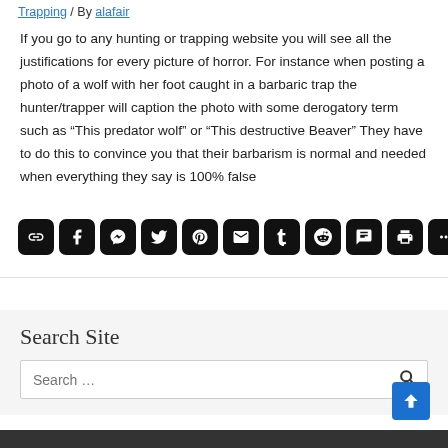Trapping / By alafair
If you go to any hunting or trapping website you will see all the justifications for every picture of horror. For instance when posting a photo of a wolf with her foot caught in a barbaric trap the hunter/trapper will caption the photo with some derogatory term such as “This predator wolf” or “This destructive Beaver” They have to do this to convince you that their barbarism is normal and needed when everything they say is 100% false
[Figure (infographic): Row of 11 social share buttons (black rounded squares): link, Facebook, Messenger, Twitter, Pinterest, Email, Tumblr, Reddit, SMS, Print, More]
Search Site
[Figure (screenshot): Search box with placeholder text 'Search ...' and a search icon on the right]